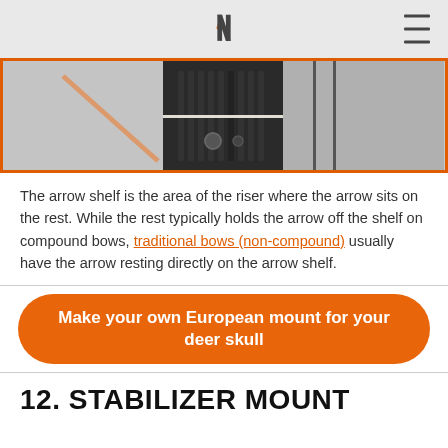N (logo)
[Figure (photo): Close-up photo of a compound bow riser showing the arrow shelf area, with an orange rectangular border overlay. The bow is dark/black colored with textured grip visible.]
The arrow shelf is the area of the riser where the arrow sits on the rest. While the rest typically holds the arrow off the shelf on compound bows, traditional bows (non-compound) usually have the arrow resting directly on the arrow shelf.
Make your own European mount for your deer skull
12. STABILIZER MOUNT